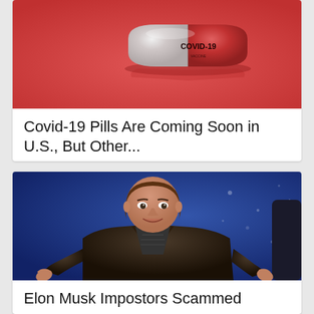[Figure (photo): A red/pink capsule pill with 'COVID-19' text printed on it, resting on a red reflective surface]
Covid-19 Pills Are Coming Soon in U.S., But Other...
[Figure (photo): Elon Musk smiling and pointing with both hands, wearing a black leather jacket, against a blue background]
Elon Musk Impostors Scammed